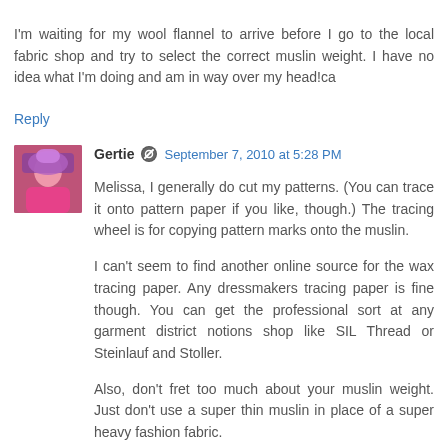I'm waiting for my wool flannel to arrive before I go to the local fabric shop and try to select the correct muslin weight. I have no idea what I'm doing and am in way over my head!ca
Reply
Gertie  September 7, 2010 at 5:28 PM
Melissa, I generally do cut my patterns. (You can trace it onto pattern paper if you like, though.) The tracing wheel is for copying pattern marks onto the muslin.
I can't seem to find another online source for the wax tracing paper. Any dressmakers tracing paper is fine though. You can get the professional sort at any garment district notions shop like SIL Thread or Steinlauf and Stoller.
Also, don't fret too much about your muslin weight. Just don't use a super thin muslin in place of a super heavy fashion fabric.